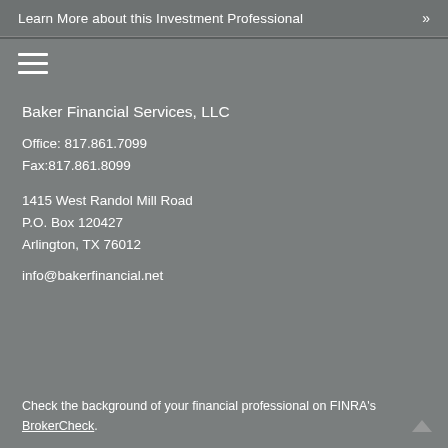Learn More about this Investment Professional »
[Figure (other): Hamburger menu icon (three horizontal lines)]
Baker Financial Services, LLC
Office: 817.861.7099
Fax:817.861.8099
1415 West Randol Mill Road
P.O. Box 120427
Arlington, TX 76012
info@bakerfinancial.net
Check the background of your financial professional on FINRA's BrokerCheck.